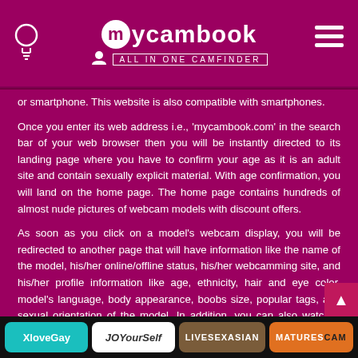mycambook ALL IN ONE CAMFINDER
or smartphone. This website is also compatible with smartphones.
Once you enter its web address i.e., 'mycambook.com' in the search bar of your web browser then you will be instantly directed to its landing page where you have to confirm your age as it is an adult site and contain sexually explicit material. With age confirmation, you will land on the home page. The home page contains hundreds of almost nude pictures of webcam models with discount offers.
As soon as you click on a model's webcam display, you will be redirected to another page that will have information like the name of the model, his/her online/offline status, his/her webcamming site, and his/her profile information like age, ethnicity, hair and eye color, model's language, body appearance, boobs size, popular tags, and sexual orientation of the model. In addition, you can also watch a short video of the model. Besides, a crisp bio is also available. For instance, I click on one of the model's cams on mycambook, and I got this interesting bio, "Hey he [dropdown] egin by telling you that I am
XloveGay | JOYourSelf | LIVESEXASIAN | MATURESCAM